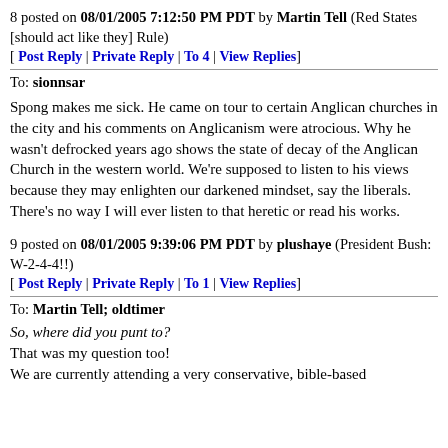8 posted on 08/01/2005 7:12:50 PM PDT by Martin Tell (Red States [should act like they] Rule)
[ Post Reply | Private Reply | To 4 | View Replies]
To: sionnsar
Spong makes me sick. He came on tour to certain Anglican churches in the city and his comments on Anglicanism were atrocious. Why he wasn't defrocked years ago shows the state of decay of the Anglican Church in the western world. We're supposed to listen to his views because they may enlighten our darkened mindset, say the liberals. There's no way I will ever listen to that heretic or read his works.
9 posted on 08/01/2005 9:39:06 PM PDT by plushaye (President Bush: W-2-4-4!!)
[ Post Reply | Private Reply | To 1 | View Replies]
To: Martin Tell; oldtimer
So, where did you punt to?
That was my question too!
We are currently attending a very conservative, bible-based